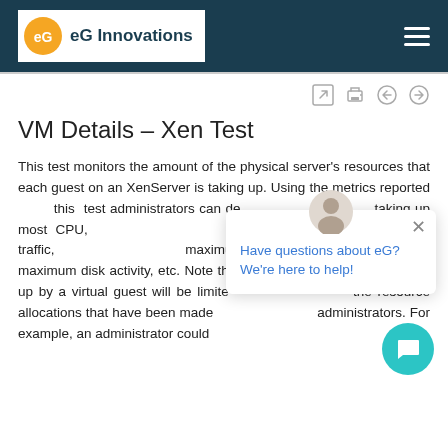eG Innovations
VM Details – Xen Test
This test monitors the amount of the physical server's resources that each guest on an XenServer is taking up. Using the metrics reported this test administrators can determine which guest is taking up most CPU, which guest is causing the most network traffic, which guest has the maximum memory utilization, which guest has the maximum disk activity, etc. Note that the amount of resources taken up by a virtual guest will be limited by the resource allocations that have been made by administrators. For example, an administrator could